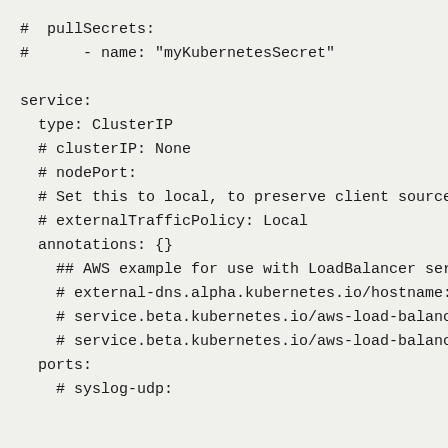#  pullSecrets:
#      - name: "myKubernetesSecret"

service:
  type: ClusterIP
  # clusterIP: None
  # nodePort:
  # Set this to local, to preserve client source
  # externalTrafficPolicy: Local
  annotations: {}
    ## AWS example for use with LoadBalancer ser
    # external-dns.alpha.kubernetes.io/hostname:
    # service.beta.kubernetes.io/aws-load-balanc
    # service.beta.kubernetes.io/aws-load-balanc
  ports:
    # syslog-udp: